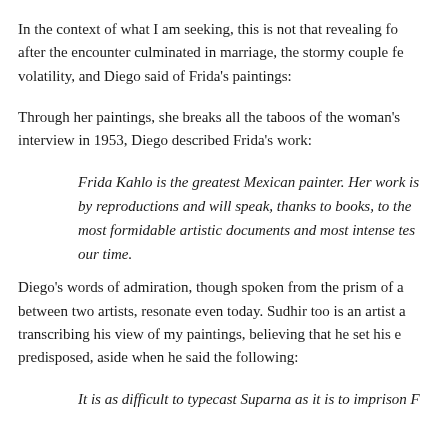In the context of what I am seeking, this is not that revealing for after the encounter culminated in marriage, the stormy couple fe volatility, and Diego said of Frida's paintings:
Through her paintings, she breaks all the taboos of the woman's interview in 1953, Diego described Frida's work:
Frida Kahlo is the greatest Mexican painter. Her work is by reproductions and will speak, thanks to books, to the most formidable artistic documents and most intense tes our time.
Diego's words of admiration, though spoken from the prism of a between two artists, resonate even today. Sudhir too is an artist a transcribing his view of my paintings, believing that he set his e predisposed, aside when he said the following:
It is as difficult to typecast Suparna as it is to imprison F